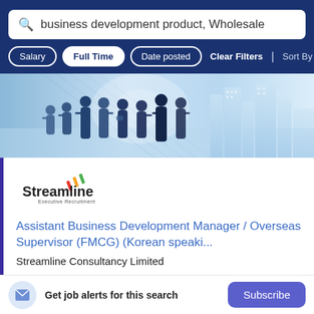business development product, Wholesale
Salary | Full Time | Date posted | Clear Filters | Sort By Rele
[Figure (photo): Banner image showing silhouettes of business professionals standing in a group with a city skyline in the background, blue toned.]
[Figure (logo): Streamline Executive Recruitment logo with colorful diagonal bar chart lines above the text.]
Assistant Business Development Manager / Overseas Supervisor (FMCG) (Korean speaki...
Streamline Consultancy Limited
Get job alerts for this search
Subscribe